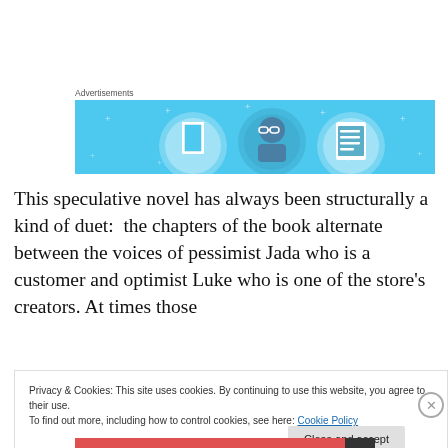Advertisements
[Figure (illustration): Advertisement banner with light blue background showing three circular icons: a notebook/door, a character with glasses, and a list/clipboard. White sparkle dots scattered around.]
This speculative novel has always been structurally a kind of duet:  the chapters of the book alternate between the voices of pessimist Jada who is a customer and optimist Luke who is one of the store’s creators. At times those
Privacy & Cookies: This site uses cookies. By continuing to use this website, you agree to their use.
To find out more, including how to control cookies, see here: Cookie Policy
Close and accept